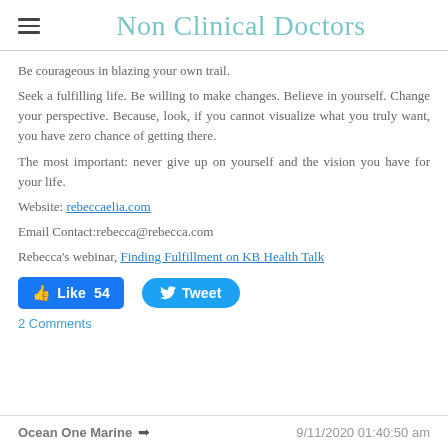Non Clinical Doctors
Be courageous in blazing your own trail. Seek a fulfilling life. Be willing to make changes. Believe in yourself. Change your perspective. Because, look, if you cannot visualize what you truly want, you have zero chance of getting there.
The most important: never give up on yourself and the vision you have for your life.
Website: rebeccaelia.com
Email Contact:rebecca@rebecca.com
Rebecca's webinar, Finding Fulfillment on KB Health Talk
[Figure (screenshot): Facebook Like button showing 54 likes and Twitter Tweet button]
2 Comments
Ocean One Marine  →  9/11/2020 01:40:50 am